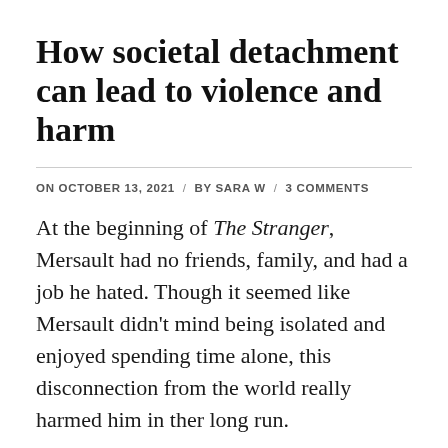How societal detachment can lead to violence and harm
ON OCTOBER 13, 2021 / BY SARA W / 3 COMMENTS
At the beginning of The Stranger, Mersault had no friends, family, and had a job he hated. Though it seemed like Mersault didn't mind being isolated and enjoyed spending time alone, this disconnection from the world really harmed him in ther long run.
In the first chapter, we learn that Merault's